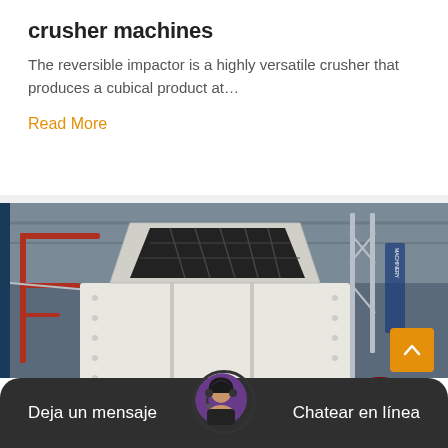crusher machines
The reversible impactor is a highly versatile crusher that produces a cubical product at...
Read More
[Figure (photo): Industrial crusher machine (reversible impactor) on wheels, photographed in a large industrial hall with steel framework and red structural elements visible in the background.]
Deja un mensaje    Chatear en línea